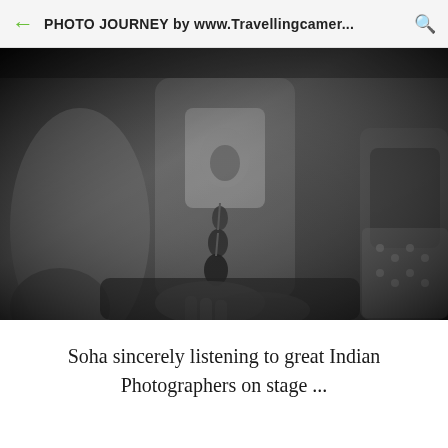PHOTO JOURNEY by www.Travellingcamer...
[Figure (photo): Black and white photograph of a woman (Soha) sitting and listening, wearing a graphic t-shirt with a necklace, with other people seated around her.]
Soha sincerely listening to great Indian Photographers on stage ...